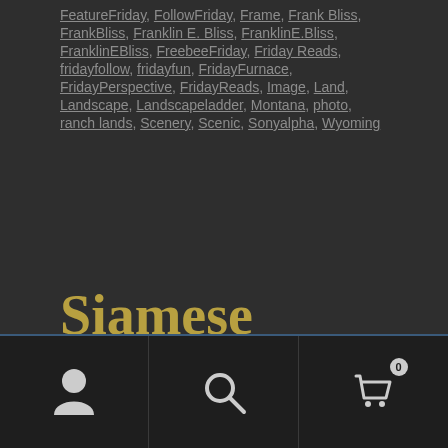FeatureFriday, FollowFriday, Frame, Frank Bliss, FrankBliss, Franklin E. Bliss, FranklinE.Bliss, FranklinEBliss, FreebeeFriday, Friday Reads, fridayfollow, fridayfun, FridayFurnace, FridayPerspective, FridayReads, Image, Land, Landscape, Landscapeladder, Montana, photo, ranch lands, Scenery, Scenic, Sonyalpha, Wyoming
Siamese Fighting Fish in the Clouds